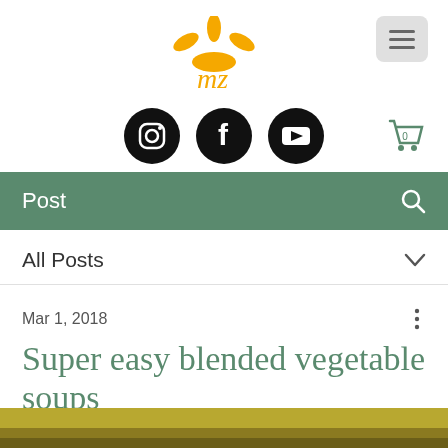[Figure (logo): Orange/yellow sunburst logo with cursive 'mz' text beneath sun rays]
[Figure (infographic): Navigation bar with hamburger menu button (three horizontal lines in gray rounded square), social media icons (Instagram, Facebook, YouTube circles), shopping cart icon with '0', green nav bar with 'Post' label and search icon, 'All Posts' dropdown row]
Mar 1, 2018
Super easy blended vegetable soups
[Figure (photo): Partial thumbnail of food/soup photo at bottom of page]